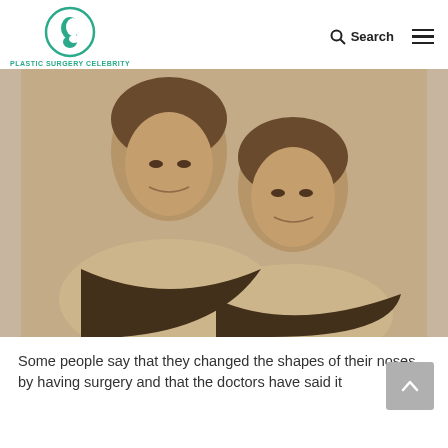PLASTIC SURGERY CELEBRITY
[Figure (photo): Black and white vintage photo of two smiling women in off-shoulder dresses with dark fur trim, posed together in a classic Hollywood portrait style.]
Some people say that they changed the shapes of their noses by having surgery and that the doctors have said it